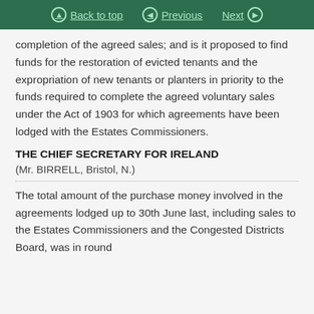Back to top | Previous | Next
completion of the agreed sales; and is it proposed to find funds for the restoration of evicted tenants and the expropriation of new tenants or planters in priority to the funds required to complete the agreed voluntary sales under the Act of 1903 for which agreements have been lodged with the Estates Commissioners.
THE CHIEF SECRETARY FOR IRELAND
(Mr. BIRRELL, Bristol, N.)
The total amount of the purchase money involved in the agreements lodged up to 30th June last, including sales to the Estates Commissioners and the Congested Districts Board, was in round